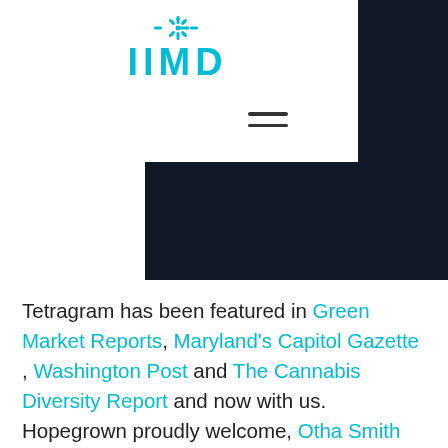[Figure (logo): IIMD logo with teal snowflake/decorative icon above the letters IIMD in teal]
[Figure (other): Hamburger menu icon (three horizontal lines) on dark navy background block]
Tetragram has been featured in Green Market Reports, Maryland's Capitol Gazette , Washington Post and The Cannabis Diversity Report and now with us. Hopegrown proudly welcome, Otha Smith the creative force behind Tetragram.